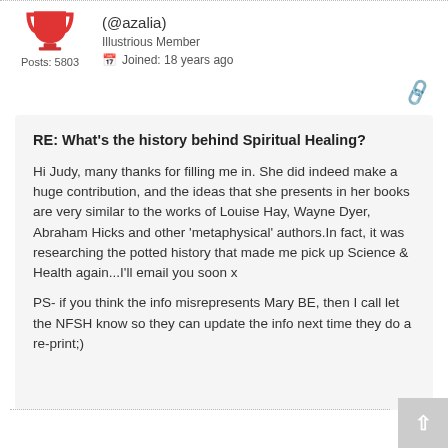(@azalia) Illustrious Member Joined: 18 years ago Posts: 5803
RE: What's the history behind Spiritual Healing?
Hi Judy, many thanks for filling me in. She did indeed make a huge contribution, and the ideas that she presents in her books are very similar to the works of Louise Hay, Wayne Dyer, Abraham Hicks and other 'metaphysical' authors.In fact, it was researching the potted history that made me pick up Science & Health again...I'll email you soon x
PS- if you think the info misrepresents Mary BE, then I call let the NFSH know so they can update the info next time they do a re-print;)